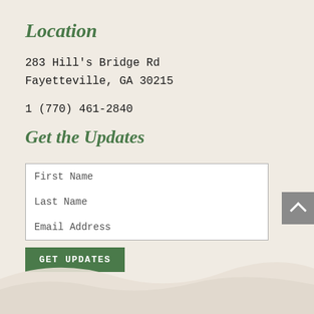Location
283 Hill's Bridge Rd
Fayetteville, GA 30215
1 (770) 461-2840
Get the Updates
First Name
Last Name
Email Address
GET UPDATES